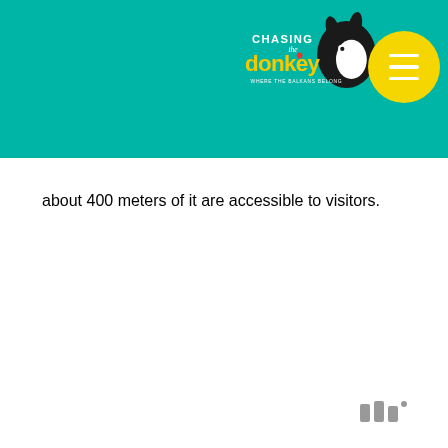Chasing the Donkey
about 400 meters of it are accessible to visitors.
[Figure (logo): Small watermark logo in bottom right corner]